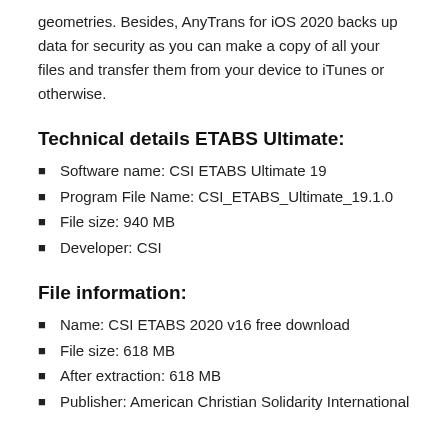geometries. Besides, AnyTrans for iOS 2020 backs up data for security as you can make a copy of all your files and transfer them from your device to iTunes or otherwise.
Technical details ETABS Ultimate:
Software name: CSI ETABS Ultimate 19
Program File Name: CSI_ETABS_Ultimate_19.1.0
File size: 940 MB
Developer: CSI
File information:
Name: CSI ETABS 2020 v16 free download
File size: 618 MB
After extraction: 618 MB
Publisher: American Christian Solidarity International